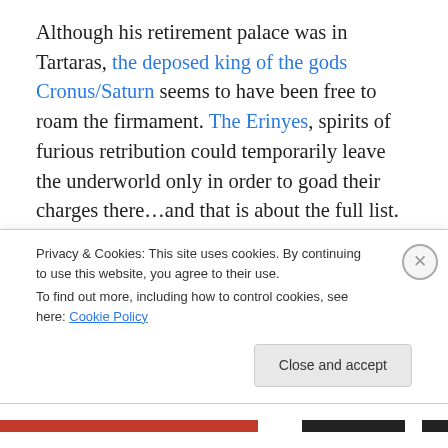Although his retirement palace was in Tartaras, the deposed king of the gods Cronus/Saturn seems to have been free to roam the firmament. The Erinyes, spirits of furious retribution could temporarily leave the underworld only in order to goad their charges there…and that is about the full list. There were a lot of deities imprisoned in the underworld and there were lesser deities who worked there…but they were permanently stuck. Feasibly the Olympians, the most powerful gods who ruled heaven, the seas, and earth, could enter the underworld and leave again, but they never deigned to do so. Gaia had the
Privacy & Cookies: This site uses cookies. By continuing to use this website, you agree to their use. To find out more, including how to control cookies, see here: Cookie Policy
Close and accept